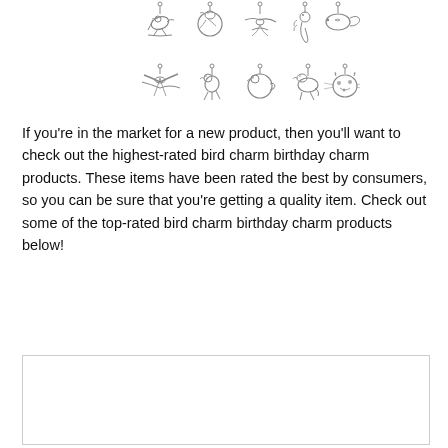[Figure (illustration): A grid of ten silver/metallic bird charm pendants in various styles: songbird on branch, hummingbird on ring, flying swallow/heron, seahorse, fish, flying swallow, small perched bird, round duckling, duck/goose, cat face with spots.]
If you're in the market for a new product, then you'll want to check out the highest-rated bird charm birthday charm products. These items have been rated the best by consumers, so you can be sure that you're getting a quality item. Check out some of the top-rated bird charm birthday charm products below!
[Figure (other): Empty white box with a thin gray border, likely a placeholder for a product image or advertisement.]